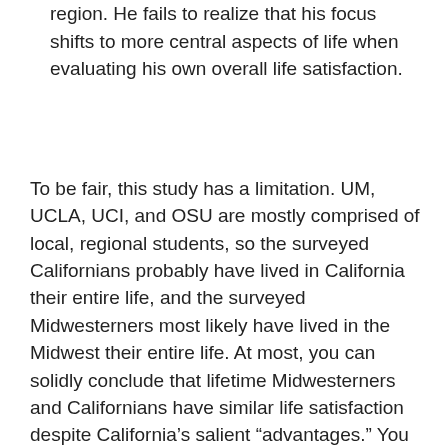region. He fails to realize that his focus shifts to more central aspects of life when evaluating his own overall life satisfaction.
To be fair, this study has a limitation. UM, UCLA, UCI, and OSU are mostly comprised of local, regional students, so the surveyed Californians probably have lived in California their entire life, and the surveyed Midwesterners most likely have lived in the Midwest their entire life. At most, you can solidly conclude that lifetime Midwesterners and Californians have similar life satisfaction despite California's salient “advantages.” You cannot definitely say that a person who moves to the Midwest from California will not have lower life satisfaction, ceteris paribus (excluding the climate and cultural opportunities). Conversely, you cannot definitely say that a person who moves to California from the Midwest will not have higher life satisfaction, ceteris paribus (excluding the climate and